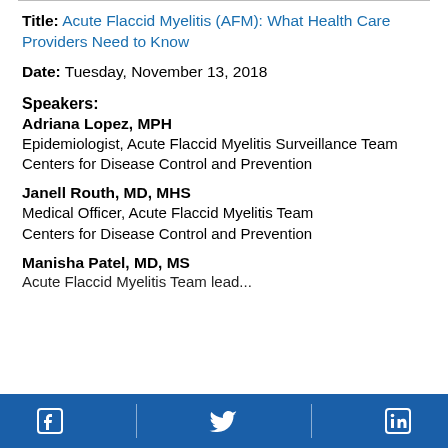Title: Acute Flaccid Myelitis (AFM): What Health Care Providers Need to Know
Date: Tuesday, November 13, 2018
Speakers:
Adriana Lopez, MPH
Epidemiologist, Acute Flaccid Myelitis Surveillance Team
Centers for Disease Control and Prevention
Janell Routh, MD, MHS
Medical Officer, Acute Flaccid Myelitis Team
Centers for Disease Control and Prevention
Manisha Patel, MD, MS
Acute Flaccid Myelitis Team lead...
Facebook | Twitter | LinkedIn